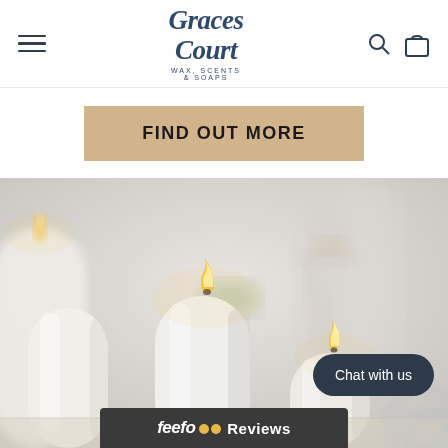Graces Court — WAX, SCENTS & SOAPS
FIND OUT MORE
[Figure (photo): Styled photo of white pillar candles of various heights arranged on a surface, with a wine glass in the background and soft blurred interior setting]
Chat with us
feefo Reviews